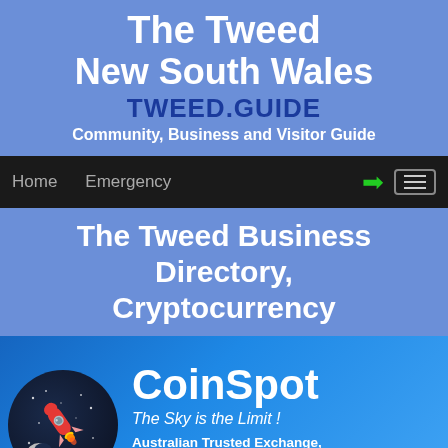The Tweed
New South Wales
TWEED.GUIDE
Community, Business and Visitor Guide
Home  Emergency
The Tweed Business Directory, Cryptocurrency
[Figure (illustration): CoinSpot advertisement banner with rocket illustration on dark circular background, text: CoinSpot - The Sky is the Limit! - Australian Trusted Exchange, Buy Bitcoin, Ripple and over 100 Digital Currencies]
[Figure (logo): Partial APCA logo at bottom]